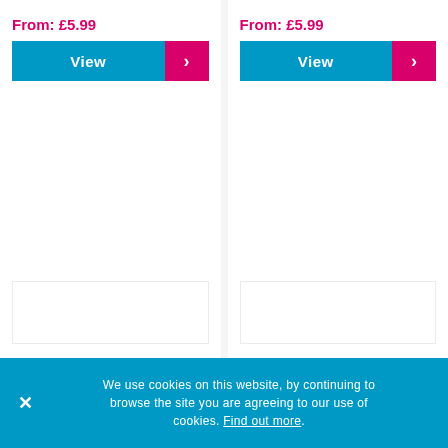From: £5.99
View
From: £5.99
View
[Figure (other): Blank white product image placeholder, left]
[Figure (other): Blank white product image placeholder, right]
We use cookies on this website, by continuing to browse the site you are agreeing to our use of cookies. Find out more.